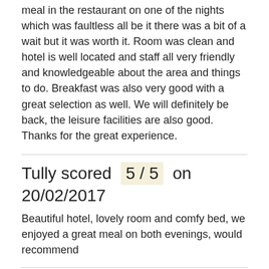meal in the restaurant on one of the nights which was faultless all be it there was a bit of a wait but it was worth it. Room was clean and hotel is well located and staff all very friendly and knowledgeable about the area and things to do. Breakfast was also very good with a great selection as well. We will definitely be back, the leisure facilities are also good. Thanks for the great experience.
Tully scored 5 / 5 on 20/02/2017
Beautiful hotel, lovely room and comfy bed, we enjoyed a great meal on both evenings, would recommend
Jane scored 4 / 5 on 03/01/2017
Really enjoyed our stay and will come back. The bar needs work though
Paul scored 3 / 5 on 02/01/2017